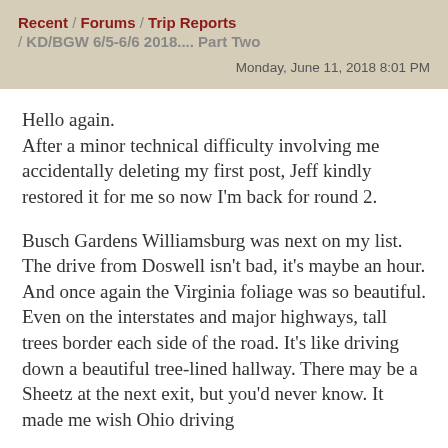Recent / Forums / Trip Reports / KD/BGW 6/5-6/6 2018.... Part Two
Monday, June 11, 2018 8:01 PM
Hello again.
After a minor technical difficulty involving me accidentally deleting my first post, Jeff kindly restored it for me so now I'm back for round 2.
Busch Gardens Williamsburg was next on my list. The drive from Doswell isn't bad, it's maybe an hour. And once again the Virginia foliage was so beautiful. Even on the interstates and major highways, tall trees border each side of the road. It's like driving down a beautiful tree-lined hallway. There may be a Sheetz at the next exit, but you'd never know. It made me wish Ohio driving